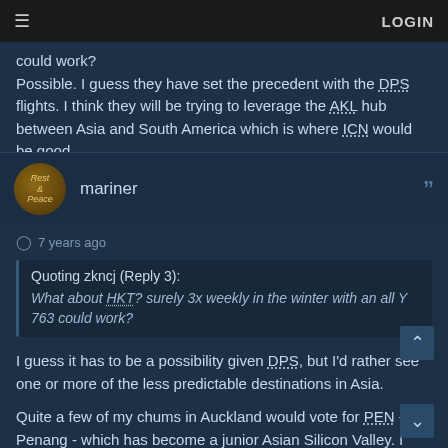≡  LOGIN
could work?
Possible. I guess they have set the precedent with the DPS flights. I think they will be trying to leverage the AKL hub between Asia and South America which is where ICN would be good.
mariner
7 years ago
Quoting zkncj (Reply 3):
What about HKT? surely 3x weekly in the winter with an all Y 763 could work?
I guess it has to be a possibility given DPS, but I'd rather see one or more of the less predictable destinations in Asia.
Quite a few of my chums in Auckland would vote for PEN - Penang - which has become a junior Asian Silicon Valley. I can't link to the Wall Street Journal because it's behind a paywall, but here's the headline:
"Tech Floods Into Malaysia Safe From Natural Disasters, Island of